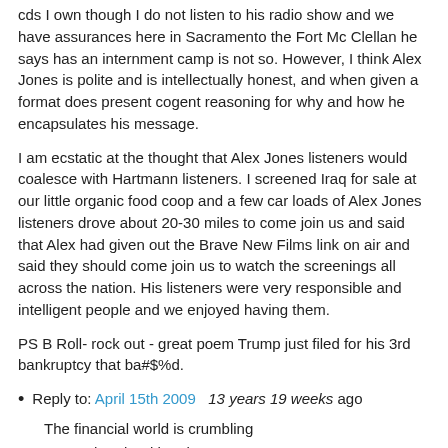cds I own though I do not listen to his radio show and we have assurances here in Sacramento the Fort Mc Clellan he says has an internment camp is not so. However, I think Alex Jones is polite and is intellectually honest, and when given a format does present cogent reasoning for why and how he encapsulates his message.
I am ecstatic at the thought that Alex Jones listeners would coalesce with Hartmann listeners. I screened Iraq for sale at our little organic food coop and a few car loads of Alex Jones listeners drove about 20-30 miles to come join us and said that Alex had given out the Brave New Films link on air and said they should come join us to watch the screenings all across the nation. His listeners were very responsible and intelligent people and we enjoyed having them.
PS B Roll- rock out - great poem Trump just filed for his 3rd bankruptcy that ba#$%d.
Reply to: April 15th 2009   13 years 19 weeks ago
The financial world is crumbling
On our heads with a thump
Where can we find inspiration?